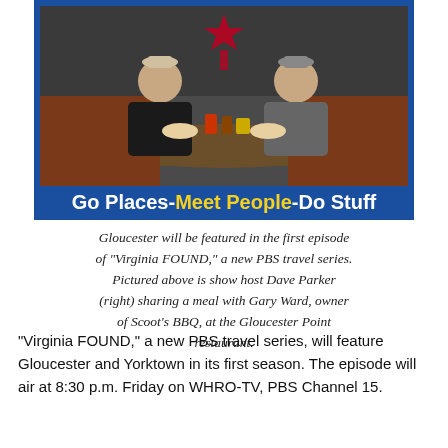[Figure (photo): Photo of two men sitting in a diner booth sharing a meal, with an American flag star decoration visible in the background. Below the photo is a blue banner reading 'Go Places-Meet People-Do Stuff' with 'Meet People' in yellow and the rest in white.]
Gloucester will be featured in the first episode of "Virginia FOUND," a new PBS travel series. Pictured above is show host Dave Parker (right) sharing a meal with Gary Ward, owner of Scoot's BBQ, at the Gloucester Point restaurant.
"Virginia FOUND," a new PBS travel series, will feature Gloucester and Yorktown in its first season. The episode will air at 8:30 p.m. Friday on WHRO-TV, PBS Channel 15.